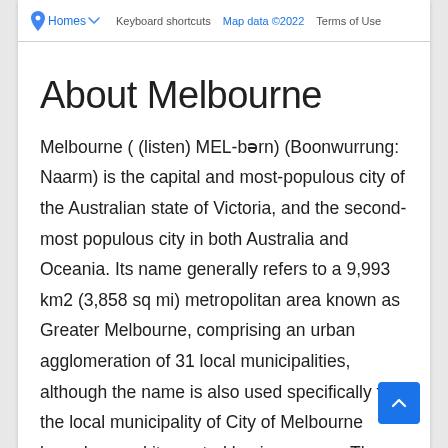Homes  Keyboard shortcuts  Map data ©2022  Terms of Use
About Melbourne
Melbourne ( (listen) MEL-bərn) (Boonwurrung: Naarm) is the capital and most-populous city of the Australian state of Victoria, and the second-most populous city in both Australia and Oceania. Its name generally refers to a 9,993 km2 (3,858 sq mi) metropolitan area known as Greater Melbourne, comprising an urban agglomeration of 31 local municipalities, although the name is also used specifically for the local municipality of City of Melbourne based around its central business area. The city occupies much of the northern